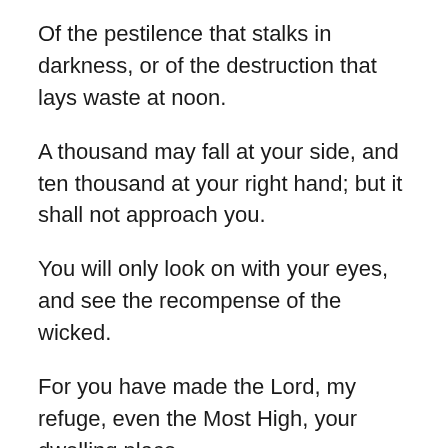Of the pestilence that stalks in darkness, or of the destruction that lays waste at noon.
A thousand may fall at your side, and ten thousand at your right hand; but it shall not approach you.
You will only look on with your eyes, and see the recompense of the wicked.
For you have made the Lord, my refuge, even the Most High, your dwelling place.
No evil will befall you, nor will any plague come near your tent.
For He will give His angels charge concerning you, to guard you in all your ways.
They will bear you up in their hands, lest you strike your